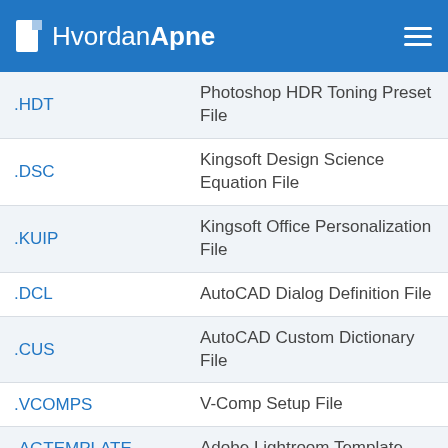HvordanApne
| Extension | Description |
| --- | --- |
| .HDT | Photoshop HDR Toning Preset File |
| .DSC | Kingsoft Design Science Equation File |
| .KUIP | Kingsoft Office Personalization File |
| .DCL | AutoCAD Dialog Definition File |
| .CUS | AutoCAD Custom Dictionary File |
| .VCOMPS | V-Comp Setup File |
| .AGTEMPLATE | Adobe Lightroom Template |
| .BGI | BgInfo Configuration File |
| .WPS | Translator's Workbench Project File |
| .NP4 | NetPoint 4 Schedule File |